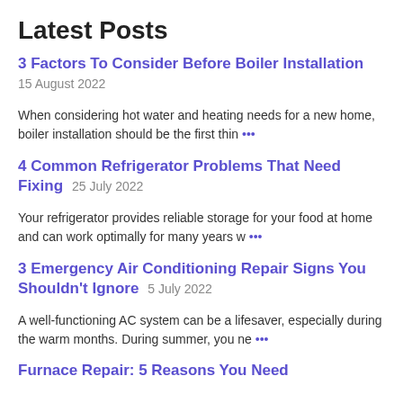Latest Posts
3 Factors To Consider Before Boiler Installation  15 August 2022
When considering hot water and heating needs for a new home, boiler installation should be the first thin …
4 Common Refrigerator Problems That Need Fixing  25 July 2022
Your refrigerator provides reliable storage for your food at home and can work optimally for many years w …
3 Emergency Air Conditioning Repair Signs You Shouldn't Ignore  5 July 2022
A well-functioning AC system can be a lifesaver, especially during the warm months. During summer, you ne …
Furnace Repair: 5 Reasons You Need